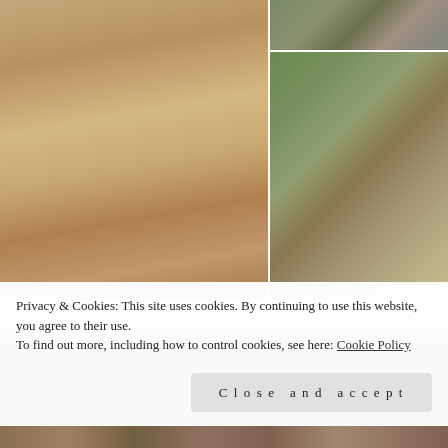[Figure (photo): Collage of outdoor rural/bush photos: top-left shows a sandy dirt road/track, top-right top shows rocky area with vegetation, top-right bottom shows a green shrubby area with a shed and old fence post/stump in foreground.]
[Figure (photo): Wide panoramic photo of a bush/park setting with tall eucalyptus/gum trees on the left (bare branches), dense green shrubs on the right, and a weathered wooden paling fence in the foreground.]
Privacy & Cookies: This site uses cookies. By continuing to use this website, you agree to their use.
To find out more, including how to control cookies, see here: Cookie Policy
[Figure (photo): Partial bottom strip of a rural/bush outdoor photo showing ground with fallen leaves.]